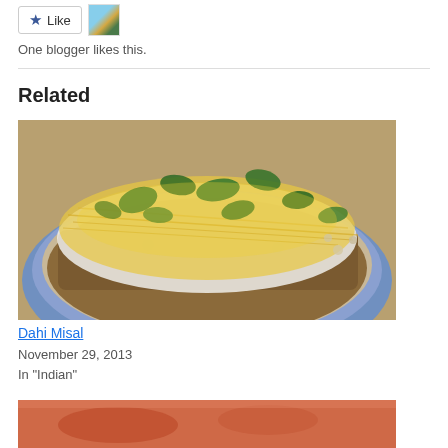[Figure (other): Like button with star icon and a small thumbnail avatar image of a blogger]
One blogger likes this.
Related
[Figure (photo): A blue decorative plate filled with Dahi Misal - an Indian dish with sprouts, yogurt, sev (yellow crispy noodles), and fresh green coriander/cilantro leaves on top]
Dahi Misal
November 29, 2013
In "Indian"
[Figure (photo): Partial view of another food photograph at the bottom of the page]